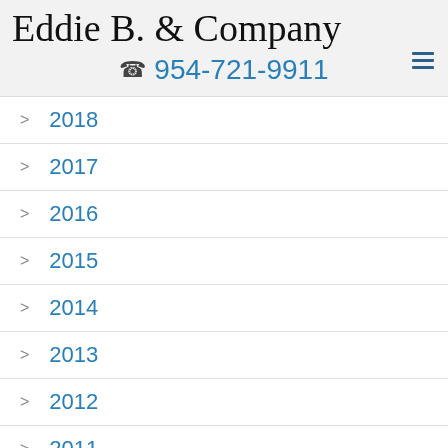Eddie B. & Company
☎ 954-721-9911
2018
2017
2016
2015
2014
2013
2012
2011
2010